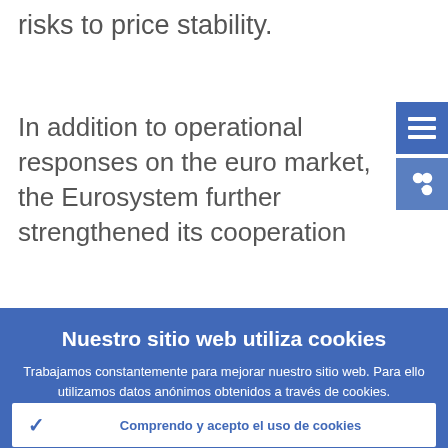risks to price stability.
In addition to operational responses on the euro market, the Eurosystem further strengthened its cooperation
Nuestro sitio web utiliza cookies
Trabajamos constantemente para mejorar nuestro sitio web. Para ello utilizamos datos anónimos obtenidos a través de cookies.
› Más información sobre el uso de cookies
✓ Comprendo y acepto el uso de cookies
✗ No acepto el uso de cookies